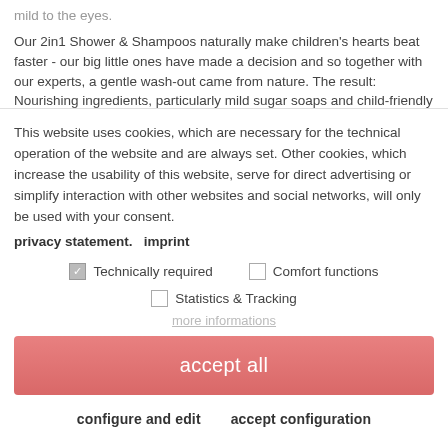mild to the eyes.
Our 2in1 Shower & Shampoos naturally make children's hearts beat faster - our big little ones have made a decision and so together with our experts, a gentle wash-out came from nature. The result: Nourishing ingredients, particularly mild sugar soaps and child-friendly fragrances in an animal packaging - in the usual high Weleda quality. So you can bring your child to
This website uses cookies, which are necessary for the technical operation of the website and are always set. Other cookies, which increase the usability of this website, serve for direct advertising or simplify interaction with other websites and social networks, will only be used with your consent. privacy statement.   imprint
Technically required (checked)
Comfort functions (unchecked)
Statistics & Tracking (unchecked)
more informations
accept all
configure and edit
accept configuration